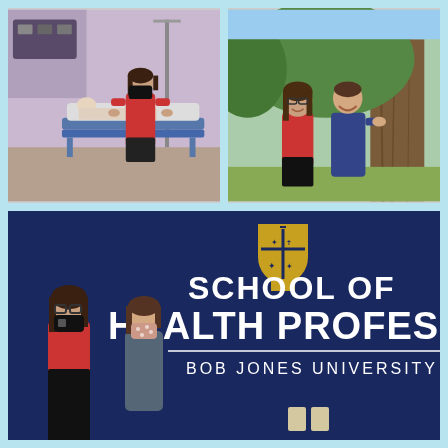[Figure (photo): Woman wearing red top and black mask standing next to a hospital bed with a medical mannequin in a clinical simulation lab with purple-painted walls and medical equipment.]
[Figure (photo): Two women standing outdoors near a large tree. The woman on the left wears a red top and glasses, the woman on the right wears a blue dress and is smiling.]
[Figure (photo): Two women standing in front of a navy blue wall displaying the Bob Jones University School of Health Professions sign with the university crest. Both women are wearing face masks. The woman on the left wears a red top and glasses, the woman on the right wears a gray dress.]